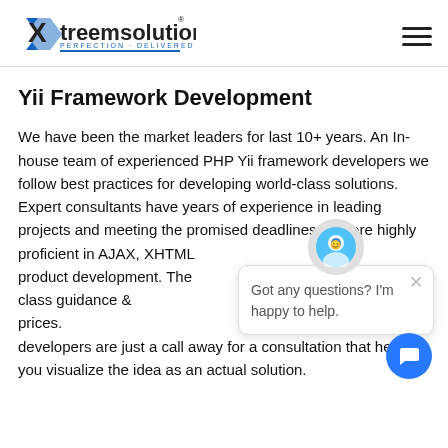Xtreemsolution - PERFECTION DELIVERED
Yii Framework Development
We have been the market leaders for last 10+ years. An In-house team of experienced PHP Yii framework developers we follow best practices for developing world-class solutions. Expert consultants have years of experience in leading projects and meeting the promised deadlines. We are highly proficient in AJAX, XHTML product development. The world-class guidance a very cost effective prices. developers are just a call away for a consultation that helps you visualize the idea as an actual solution.
[Figure (screenshot): Chat popup bubble with avatar icon and message 'Got any questions? I'm happy to help.' with a close button and blue chat button in corner]